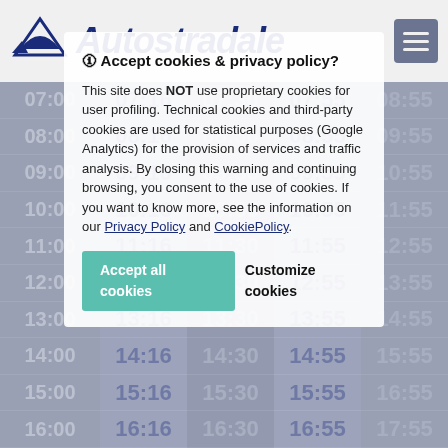[Figure (logo): Autostradale logo with stylized wing icon and italic bold text]
| Hour | Col1 | Col2 | Col3 | Col4 |
| --- | --- | --- | --- | --- |
| 07:00 | 07:16 | 07:30 | 07:55 | 08:55 |
| 08:00 | 08:16 | 08:30 | 08:55 | 09:55 |
| 09:00 | 09:16 | 09:30 | 09:55 | 10:55 |
| 10:00 | 10:16 | 10:30 | 10:55 | 11:55 |
| 11:00 | 11:16 | 11:30 | 11:55 | 12:55 |
| 12:00 | 12:16 | 12:30 | 12:55 | 13:55 |
| 13:00 | 13:16 | 13:30 | 13:55 | 14:55 |
| 14:00 | 14:16 | 14:30 | 14:55 | 15:55 |
| 15:00 | 15:16 | 15:30 | 15:55 | 16:55 |
| 16:00 | 16:16 | 16:30 | 16:55 | 17:55 |
🛈 Accept cookies & privacy policy?
This site does NOT use proprietary cookies for user profiling. Technical cookies and third-party cookies are used for statistical purposes (Google Analytics) for the provision of services and traffic analysis. By closing this warning and continuing browsing, you consent to the use of cookies. If you want to know more, see the information on our Privacy Policy and CookiePolicy.
Accept all cookies
Customize cookies